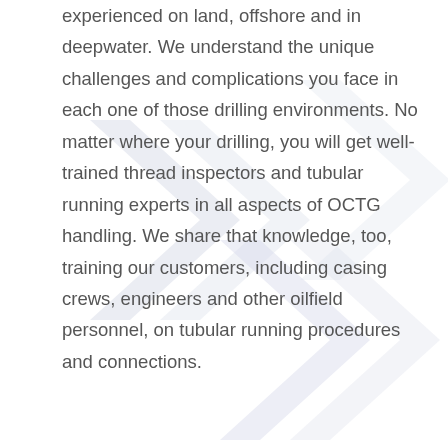experienced on land, offshore and in deepwater. We understand the unique challenges and complications you face in each one of those drilling environments. No matter where your drilling, you will get well-trained thread inspectors and tubular running experts in all aspects of OCTG handling. We share that knowledge, too, training our customers, including casing crews, engineers and other oilfield personnel, on tubular running procedures and connections.
SEE WHERE WE WORK